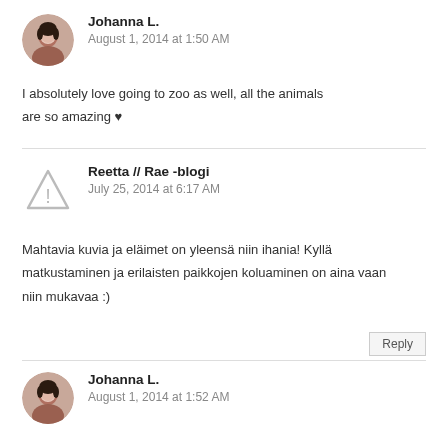[Figure (photo): Circular avatar photo of a woman (Johanna L.)]
Johanna L.
August 1, 2014 at 1:50 AM
I absolutely love going to zoo as well, all the animals are so amazing ♥
[Figure (illustration): Warning/alert triangle icon placeholder avatar for Reetta // Rae -blogi]
Reetta // Rae -blogi
July 25, 2014 at 6:17 AM
Mahtavia kuvia ja eläimet on yleensä niin ihania! Kyllä matkustaminen ja erilaisten paikkojen koluaminen on aina vaan niin mukavaa :)
Reply
[Figure (photo): Circular avatar photo of a woman (Johanna L.)]
Johanna L.
August 1, 2014 at 1:52 AM